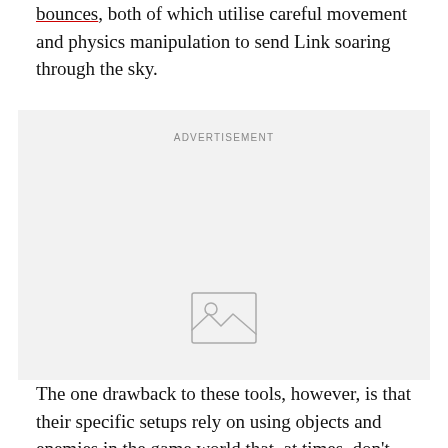bounces, both of which utilise careful movement and physics manipulation to send Link soaring through the sky.
[Figure (other): Advertisement placeholder box with image icon and 'ADVERTISEMENT' label]
The one drawback to these tools, however, is that their specific setups rely on using objects and enemies in the game world that, at times, don't always cooperate like they should.